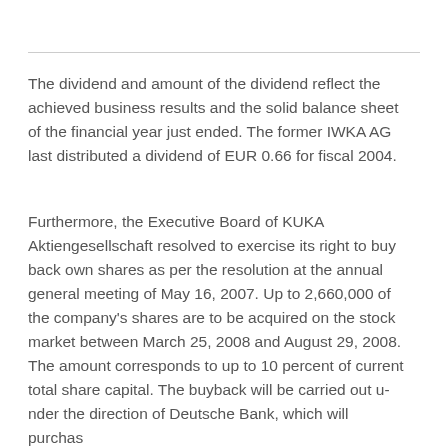The dividend and amount of the dividend reflect the achieved business results and the solid balance sheet of the financial year just ended. The former IWKA AG last distributed a dividend of EUR 0.66 for fiscal 2004.
Furthermore, the Executive Board of KUKA Aktiengesellschaft resolved to exercise its right to buy back own shares as per the resolution at the annual general meeting of May 16, 2007. Up to 2,660,000 of the company's shares are to be acquired on the stock market between March 25, 2008 and August 29, 2008. The amount corresponds to up to 10 percent of current total share capital. The buyback will be carried out under the direction of Deutsche Bank, which will purchase